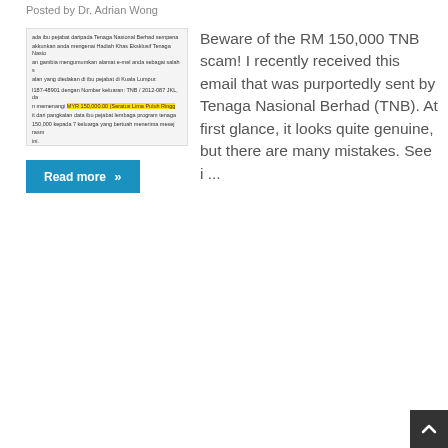Posted by Dr. Adrian Wong
[Figure (screenshot): Screenshot of a scam email purportedly from Tenaga Nasional Berhad (TNB), with yellow-highlighted text showing MYR 150,000.00 (Seratus Lima Puluh Ribu Ringgit). The email has Malay-language body text and a document icon at the bottom.]
Beware of the RM 150,000 TNB scam! I recently received this email that was purportedly sent by Tenaga Nasional Berhad (TNB). At first glance, it looks quite genuine, but there are many mistakes. See i ...
Read more »